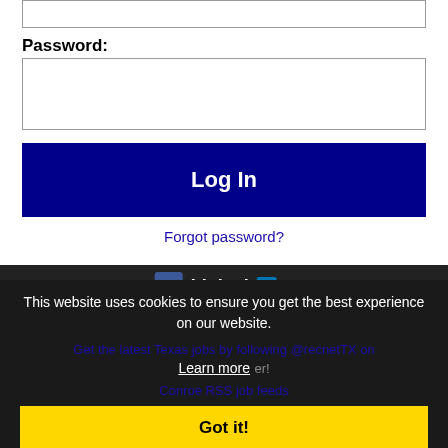Password:
Log In
Forgot password?
[Figure (screenshot): Facebook and LinkedIn social media icons]
This website uses cookies to ensure you get the best experience on our website.
Get the latest Texas jobs by following @recnetTX on
Conroe RSS job feeds
Learn more
Got it!